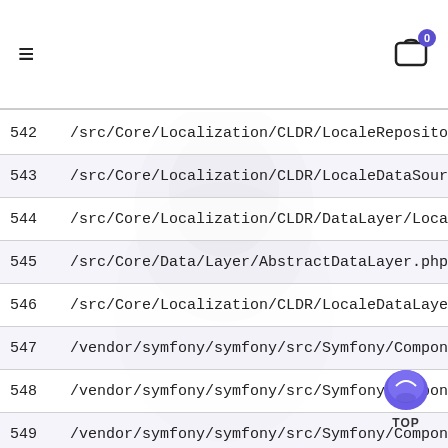≡  [cart icon] 0
| # | File Path |
| --- | --- |
| 542 | /src/Core/Localization/CLDR/LocaleRepository.php |
| 543 | /src/Core/Localization/CLDR/LocaleDataSource.php |
| 544 | /src/Core/Localization/CLDR/DataLayer/LocaleCache.php |
| 545 | /src/Core/Data/Layer/AbstractDataLayer.php |
| 546 | /src/Core/Localization/CLDR/LocaleDataLayerInterface.php |
| 547 | /vendor/symfony/symfony/src/Symfony/Component/Cache/A... |
| 548 | /vendor/symfony/symfony/src/Symfony/Component/Cache/A... |
| 549 | /vendor/symfony/symfony/src/Symfony/Component/Cache/T... |
| 550 | /vendor/psr/log/Psr/Log/LoggerAwareTrait.php |
| 551 | /vendor/symfony/symfony/src/Symfony/Component/Cache/A... |
| 552 | /vendor/psr/cache/src/CacheItemPoolInterface.php |